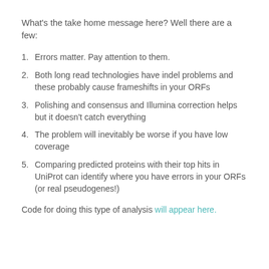What's the take home message here?  Well there are a few:
Errors matter.  Pay attention to them.
Both long read technologies have indel problems and these probably cause frameshifts in your ORFs
Polishing and consensus and Illumina correction helps but it doesn't catch everything
The problem will inevitably be worse if you have low coverage
Comparing predicted proteins with their top hits in UniProt can identify where you have errors in your ORFs (or real pseudogenes!)
Code for doing this type of analysis will appear here.